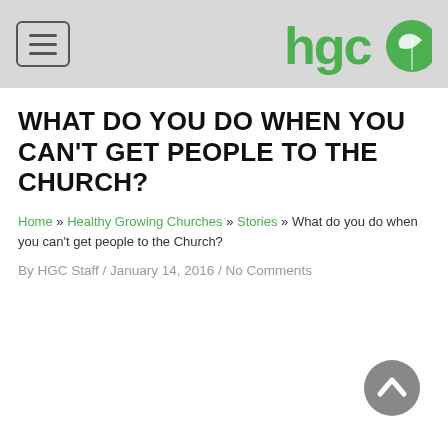hgco [logo] [menu button]
WHAT DO YOU DO WHEN YOU CAN'T GET PEOPLE TO THE CHURCH?
Home » Healthy Growing Churches » Stories » What do you do when you can't get people to the Church?
By HGC Staff / January 14, 2016 / No Comments
[Figure (other): Back to top circular button with upward arrow, dark grey]